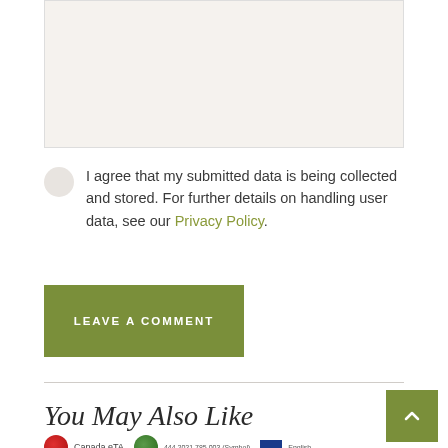[textarea input area]
I agree that my submitted data is being collected and stored. For further details on handling user data, see our Privacy Policy.
LEAVE A COMMENT
You May Also Like
Canada eTA